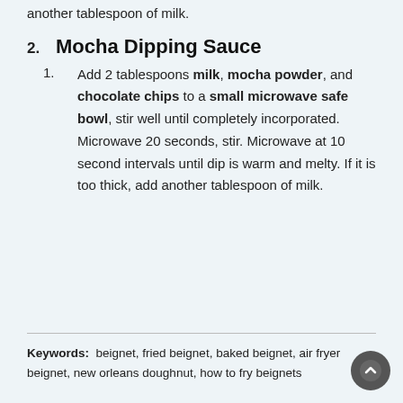another tablespoon of milk.
2. Mocha Dipping Sauce
1. Add 2 tablespoons milk, mocha powder, and chocolate chips to a small microwave safe bowl, stir well until completely incorporated. Microwave 20 seconds, stir. Microwave at 10 second intervals until dip is warm and melty. If it is too thick, add another tablespoon of milk.
Keywords:  beignet, fried beignet, baked beignet, air fryer beignet, new orleans doughnut, how to fry beignets